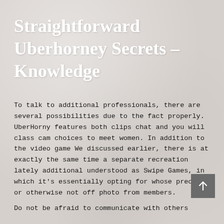Straightforward Uberhorney Secrets – Knowledge
To talk to additional professionals, there are several possibilities due to the fact properly. UberHorny features both clips chat and you will class cam choices to meet women. In addition to the video game We discussed earlier, there is at exactly the same time a separate recreation lately additional understood as Swipe Games, in which it's essentially opting for whose precious or otherwise not off photo from members.
Do not be afraid to communicate with others